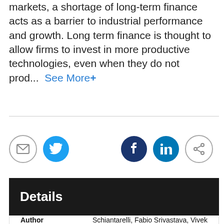markets, a shortage of long-term finance acts as a barrier to industrial performance and growth. Long term finance is thought to allow firms to invest in more productive technologies, even when they do not prod...  See More+
[Figure (infographic): Social media sharing icons row: envelope (outline), Twitter (blue), and on right side Facebook (dark blue), LinkedIn (blue), share (outline)]
Details
| Author |  |
| --- | --- |
| Author | Schiantarelli, Fabio Srivastava, Vivek |